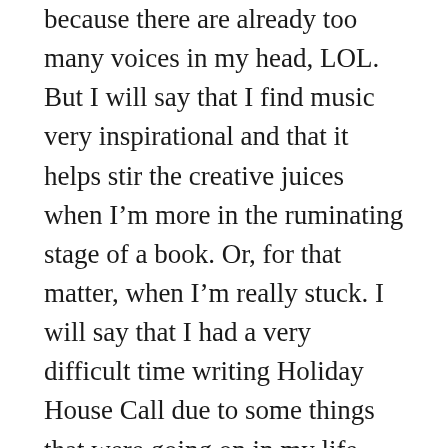because there are already too many voices in my head, LOL. But I will say that I find music very inspirational and that it helps stir the creative juices when I'm more in the ruminating stage of a book. Or, for that matter, when I'm really stuck. I will say that I had a very difficult time writing Holiday House Call due to some things that were going on in my life, and although I had a contract deadline to meet, I was getting to the point where I was afraid I actually wasn't going to be able to do it and that bothered me immensely. And then I stumbled upon Walker Hayes (specifically the video to You Broke Up With Me) and that finally got me going again. It wasn't the song so much as the musician. He had all the characteristics I was looking for in Tod...